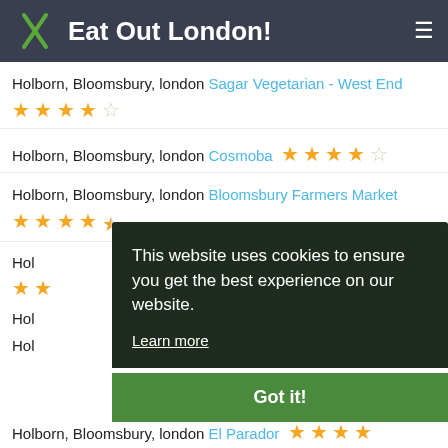Eat Out London!
Holborn, Bloomsbury, london Sagar Vegetarian - West End ★★★★☆
Holborn, Bloomsbury, london Cosmoba ★★★★☆
Holborn, Bloomsbury, london Bloomsbury Farmers Market ★★★★½
Hol[born, Bloomsbury, london] (partially obscured)
Hol[born, Bloomsbury, london] (partially obscured)
Hol[born, Bloomsbury, london] (partially obscured)
This website uses cookies to ensure you get the best experience on our website. Learn more
Got it!
Holborn, Bloomsbury, london El Parador ★★★★